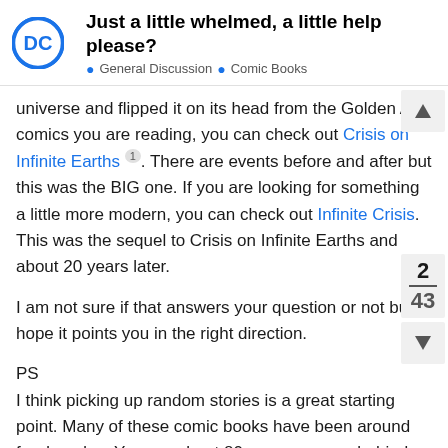Just a little whelmed, a little help please? • General Discussion • Comic Books
universe and flipped it on its head from the Golden Age comics you are reading, you can check out Crisis on Infinite Earths ①. There are events before and after but this was the BIG one. If you are looking for something a little more modern, you can check out Infinite Crisis. This was the sequel to Crisis on Infinite Earths and about 20 years later.
I am not sure if that answers your question or not but I hope it points you in the right direction.
PS
I think picking up random stories is a great starting point. Many of these comic books have been around for decades. You are about 80 years or more behind. However, I admire the dedication.